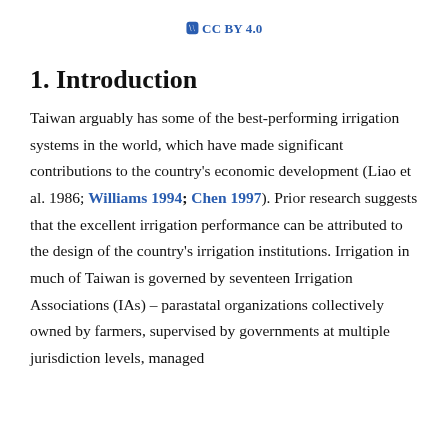CC BY 4.0
1. Introduction
Taiwan arguably has some of the best-performing irrigation systems in the world, which have made significant contributions to the country's economic development (Liao et al. 1986; Williams 1994; Chen 1997). Prior research suggests that the excellent irrigation performance can be attributed to the design of the country's irrigation institutions. Irrigation in much of Taiwan is governed by seventeen Irrigation Associations (IAs) – parastatal organizations collectively owned by farmers, supervised by governments at multiple jurisdiction levels, managed